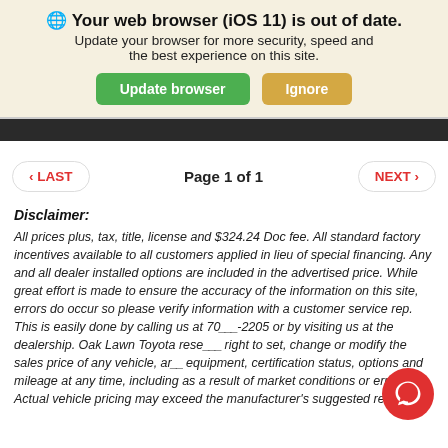🌐 Your web browser (iOS 11) is out of date. Update your browser for more security, speed and the best experience on this site.
Page 1 of 1
Disclaimer:
All prices plus, tax, title, license and $324.24 Doc fee. All standard factory incentives available to all customers applied in lieu of special financing. Any and all dealer installed options are included in the advertised price. While great effort is made to ensure the accuracy of the information on this site, errors do occur so please verify information with a customer service rep. This is easily done by calling us at 70___-2205 or by visiting us at the dealership. Oak Lawn Toyota rese___ right to set, change or modify the sales price of any vehicle, ar__ equipment, certification status, options and mileage at any time, including as a result of market conditions or errors. Actual vehicle pricing may exceed the manufacturer's suggested retail price